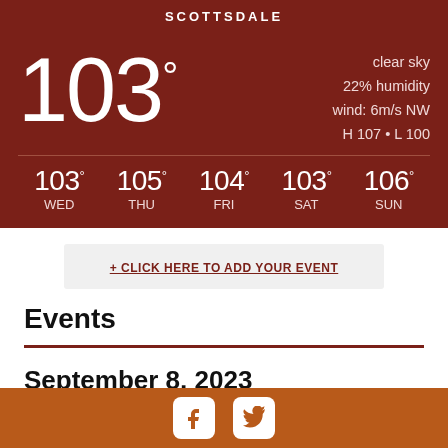SCOTTSDALE
103° clear sky 22% humidity wind: 6m/s NW H 107 • L 100
103° WED  105° THU  104° FRI  103° SAT  106° SUN
+ CLICK HERE TO ADD YOUR EVENT
Events
September 8, 2023